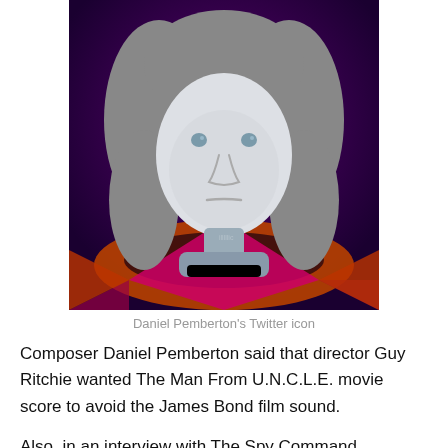[Figure (illustration): Cartoon/illustrated avatar of Daniel Pemberton's Twitter icon — a stylized face with gray hair on a dark purple/magenta background with a diamond-patterned floor in orange and magenta tones.]
Daniel Pemberton's Twitter icon
Composer Daniel Pemberton said that director Guy Ritchie wanted The Man From U.N.C.L.E. movie score to avoid the James Bond film sound.
Also, in an interview with The Spy Command, Pemberton